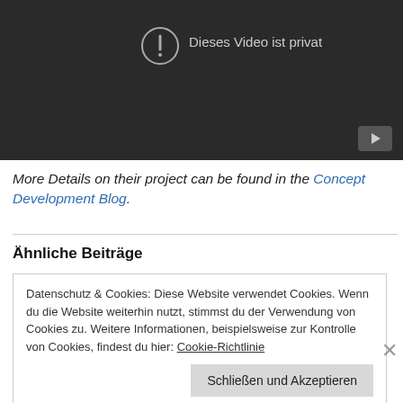[Figure (screenshot): Dark video player showing 'Dieses Video ist privat' message with an exclamation circle icon and a YouTube play button in the bottom right corner.]
More Details on their project can be found in the Concept Development Blog.
Ähnliche Beiträge
Datenschutz & Cookies: Diese Website verwendet Cookies. Wenn du die Website weiterhin nutzt, stimmst du der Verwendung von Cookies zu. Weitere Informationen, beispielsweise zur Kontrolle von Cookies, findest du hier: Cookie-Richtlinie
Schließen und Akzeptieren